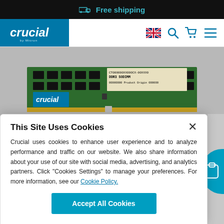Free shipping
[Figure (screenshot): Crucial brand logo in teal/blue square with white italic text 'crucial by Micron']
[Figure (photo): Crucial DDR3 SODIMM RAM module on gray background. Green PCB with black memory chips, gold edge connector contacts, white label showing CT000000XX000CX-00XXX0 DDR3 SODIMM 00000000 Product Origin 000000]
This Site Uses Cookies
Crucial uses cookies to enhance user experience and to analyze performance and traffic on our website. We also share information about your use of our site with social media, advertising, and analytics partners. Click "Cookies Settings" to manage your preferences. For more information, see our Cookie Policy.
Accept All Cookies